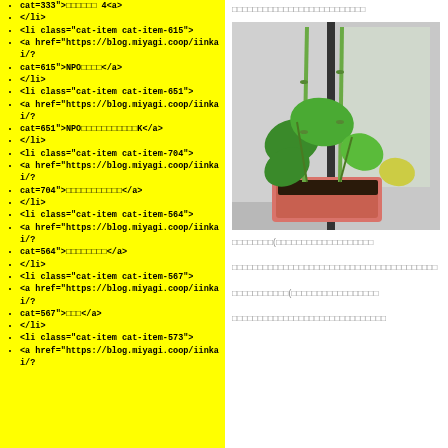<li class="cat-item cat-item-615">
<a href="https://blog.miyagi.coop/iinkai/?cat=615">NPO□□□□</a>
</li>
<li class="cat-item cat-item-651">
<a href="https://blog.miyagi.coop/iinkai/?cat=651">NPO□□□□□□□□□□□K</a>
</li>
<li class="cat-item cat-item-704">
<a href="https://blog.miyagi.coop/iinkai/?cat=704">□□□□□□□□□□□</a>
</li>
<li class="cat-item cat-item-564">
<a href="https://blog.miyagi.coop/iinkai/?cat=564">□□□□□□□□</a>
</li>
<li class="cat-item cat-item-567">
<a href="https://blog.miyagi.coop/iinkai/?cat=567">□□□</a>
</li>
<li class="cat-item cat-item-573">
<a href="https://blog.miyagi.coop/iinkai/?
□□□□□□□□□□□□□□□□□□□□□□
[Figure (photo): Photo of a plant with large leaves growing in a pink/terracotta rectangular pot, with green bamboo stakes supporting it, against a wall and door background.]
□□□□□□□□(□□□□□□□□□□□□□□□□□□□
□□□□□□□□□□□□□□□□□□□□□□□□□□□□□□□□□□□□□□□□
□□□□□□□□□□□(□□□□□□□□□□□□□□□□□